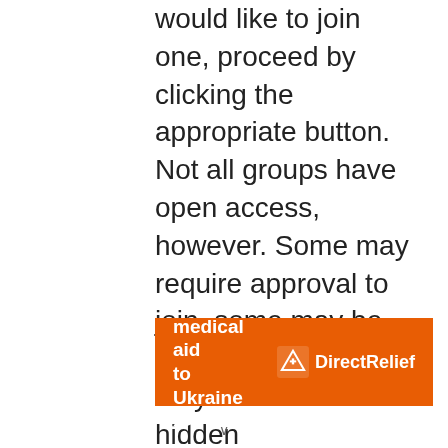would like to join one, proceed by clicking the appropriate button. Not all groups have open access, however. Some may require approval to join, some may be closed and some may even have hidden memberships. If the group is open, you can join it by clicking the appropriate button. If a group requires approval to join you may request to join by clicking the appropriate button.
[Figure (infographic): Orange advertisement banner: 'Help send medical aid to Ukraine >>' with Direct Relief logo on the right]